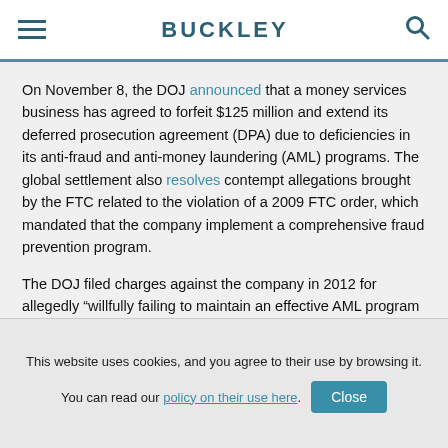BUCKLEY
On November 8, the DOJ announced that a money services business has agreed to forfeit $125 million and extend its deferred prosecution agreement (DPA) due to deficiencies in its anti-fraud and anti-money laundering (AML) programs. The global settlement also resolves contempt allegations brought by the FTC related to the violation of a 2009 FTC order, which mandated that the company implement a comprehensive fraud prevention program.
The DOJ filed charges against the company in 2012 for allegedly “willfully failing to maintain an effective AML program and aiding and abetting wire fraud,” including scams targeting the elderly and other vulnerable groups that involved victims
This website uses cookies, and you agree to their use by browsing it.
You can read our policy on their use here.